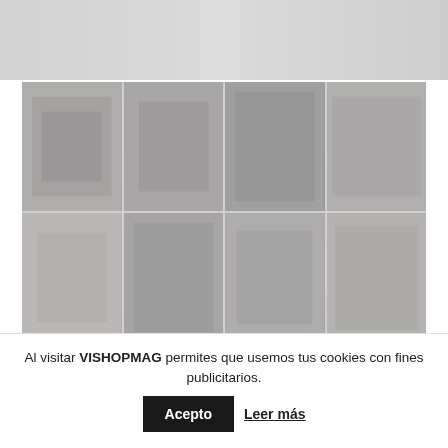[Figure (photo): Top blurred/faded image strip of a magazine or shopping website header]
[Figure (photo): Grid of 8 blurred product or editorial photos arranged in 4 columns by 2 rows]
[Figure (photo): Bottom horizontal image strip with faint text overlay on right side]
Al visitar VISHOPMAG permites que usemos tus cookies con fines publicitarios. Acepto Leer más